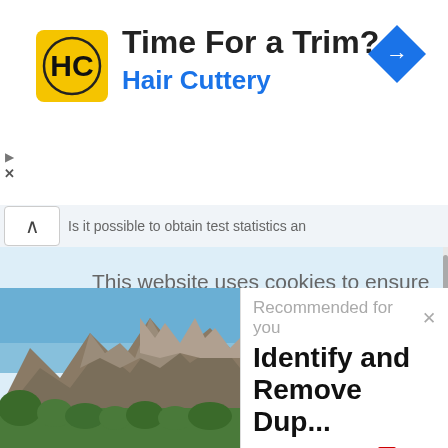[Figure (screenshot): Advertisement banner for Hair Cuttery. Shows yellow HC logo icon, bold text 'Time For a Trim?' and blue subtitle 'Hair Cuttery', with a blue navigation arrow icon on the right.]
Is it possible to obtain test statistics an
This website uses cookies to ensure you get the best experience on our website, to personalize content and ads and to analyze our traffic. We also share information about your use of our site with our social media, advertising and analytics partners such as
[Figure (photo): Outdoor photograph of rocky mountain peaks with blue sky and green trees/shrubs in the foreground. Mediterranean or Southern European landscape.]
Recommended for you
Identify and Remove Dup...
www.datanovia.com
[Figure (logo): AddThis share button logo — red square with white cross/plus icon and text 'AddThis']